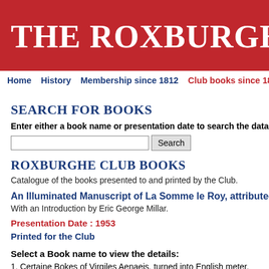THE ROXBURGHE CL
Home  History  Membership since 1812  Club books since 1812  Books ava
SEARCH FOR BOOKS
Enter either a book name or presentation date to search the database
ROXBURGHE CLUB BOOKS
Catalogue of the books presented to and printed by the Club.
An Illuminated Manuscript of La Somme le Roy, attributed t
With an Introduction by Eric George Millar.
Presentation Date : 1953
Printed for the Club
Select a Book name to view the details:
1. Certaine Bokes of Virgiles Aenaeis, turned into English meter.